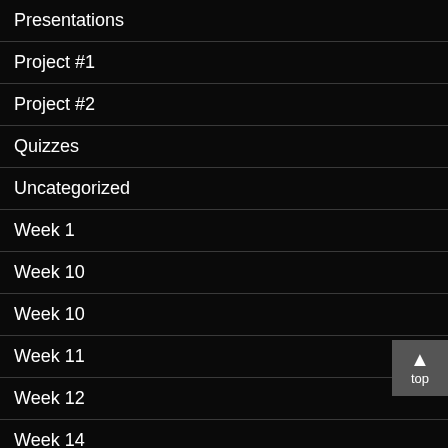Presentations
Project #1
Project #2
Quizzes
Uncategorized
Week 1
Week 10
Week 10
Week 11
Week 12
Week 14
Week 14
Week 2